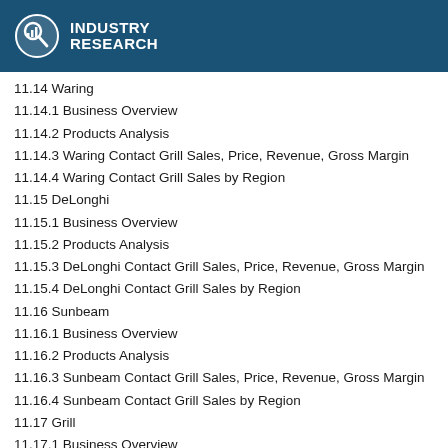INDUSTRY RESEARCH
11.14 Waring
11.14.1 Business Overview
11.14.2 Products Analysis
11.14.3 Waring Contact Grill Sales, Price, Revenue, Gross Margin
11.14.4 Waring Contact Grill Sales by Region
11.15 DeLonghi
11.15.1 Business Overview
11.15.2 Products Analysis
11.15.3 DeLonghi Contact Grill Sales, Price, Revenue, Gross Margin
11.15.4 DeLonghi Contact Grill Sales by Region
11.16 Sunbeam
11.16.1 Business Overview
11.16.2 Products Analysis
11.16.3 Sunbeam Contact Grill Sales, Price, Revenue, Gross Margin
11.16.4 Sunbeam Contact Grill Sales by Region
11.17 Grill
11.17.1 Business Overview
11.17.2 Products Analysis
11.17.3 Grill Contact Grill Sales, Price, Revenue, Gross Margin
11.17.4 Grill Contact Grill Sales by Region